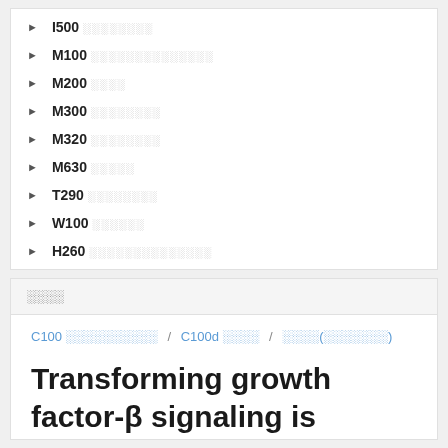I500 ░░░░░░░░
M100 ░░░░░░░░░░░░░░
M200 ░░░░
M300 ░░░░░░░░
M320 ░░░░░░░░
M630 ░░░░░
T290 ░░░░░░░░
W100 ░░░░░░
H260 ░░░░░░░░░░░░░░
░░░░
C100 ░░░░░░░░░░ / C100d ░░░░ / ░░░░(░░░░░░░)
Transforming growth factor-β signaling is